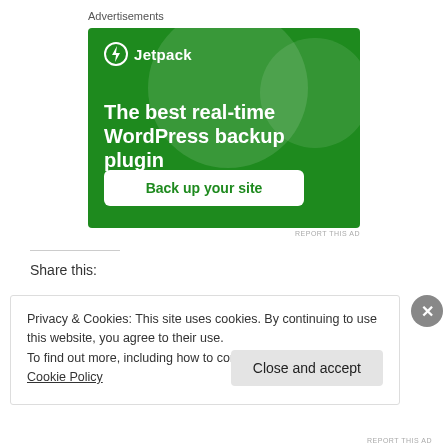Advertisements
[Figure (illustration): Jetpack advertisement banner with dark green background, Jetpack logo (lightning bolt icon), headline 'The best real-time WordPress backup plugin', and a white button 'Back up your site']
REPORT THIS AD
Share this:
Privacy & Cookies: This site uses cookies. By continuing to use this website, you agree to their use.
To find out more, including how to control cookies, see here: Cookie Policy
Close and accept
REPORT THIS AD